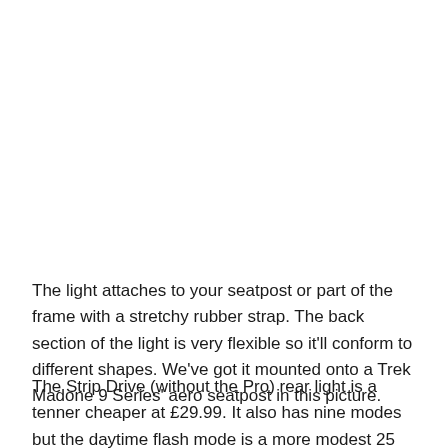The light attaches to your seatpost or part of the frame with a stretchy rubber strap. The back section of the light is very flexible so it'll conform to different shapes. We've got it mounted onto a Trek Madone 9 Series' aero seatpost in this picture.
The Strip Drive (without the Pro) rear light is a tenner cheaper at £29.99. It also has nine modes but the daytime flash mode is a more modest 25 lumens.